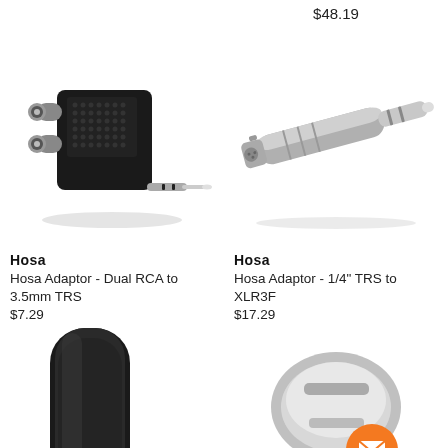$48.19
[Figure (photo): Hosa Adaptor - Dual RCA to 3.5mm TRS audio adapter, black plastic body with two RCA female ports and one 3.5mm TRS male plug]
[Figure (photo): Hosa Adaptor - 1/4" TRS to XLR3F audio adapter, silver metallic finish, elongated cylindrical shape with XLR female connector]
Hosa
Hosa Adaptor - Dual RCA to 3.5mm TRS
$7.29
Hosa
Hosa Adaptor - 1/4" TRS to XLR3F
$17.29
[Figure (photo): Bottom-left: partial view of a black audio cable/connector]
[Figure (photo): Bottom-right: partial view of a silver/metallic audio connector with orange email/chat button overlay]